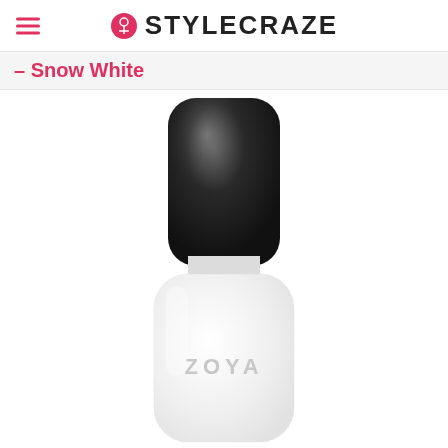STYLECRAZE
– Snow White
[Figure (photo): Zoya nail polish bottle with a dark charcoal/black rounded cap and a white opaque bottle body with 'ZOYA' text embossed on it, against a white background.]